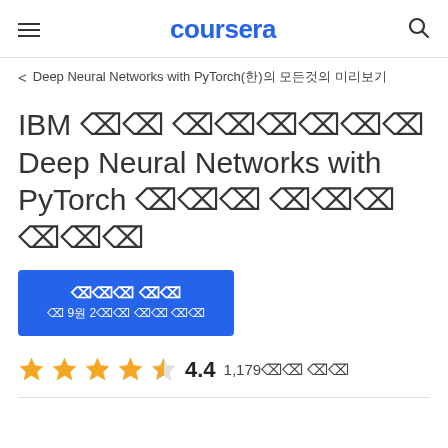coursera
< Deep Neural Networks with PyTorch(한)의 모든것의 미리보기
IBM 전문 인증서로의 Deep Neural Networks with PyTorch 강좌로 이루어 진 강의
무료로 등록
월 9원 2개월 이후 이용 요금
4.4  1,179개의 평가